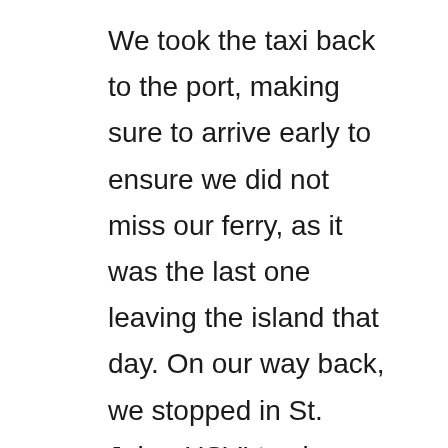We took the taxi back to the port, making sure to arrive early to ensure we did not miss our ferry, as it was the last one leaving the island that day. On our way back, we stopped in St. John, USVI to clear customs. Since St. John was the first stop in the U.S. Virgin Islands, everyone had to disembark the ferry and pass through customs, and then those who were going on to St. Thomas would re-board the ferry and continue on. One thing to note is that the process of crossing the border both into the British Virgin Islands and back into the US Virgin Islands took much longer than anticipated, so keep this in mind when